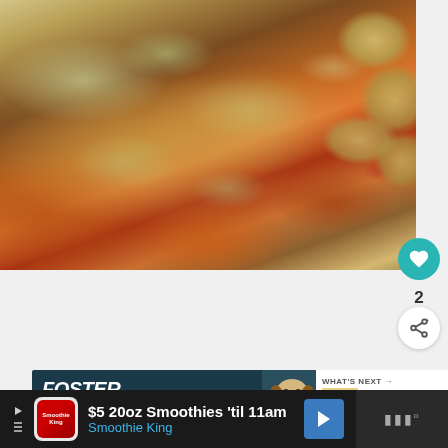[Figure (photo): Close-up food photo of a hot dog or sausage in a pretzel bun with relish/coleslaw toppings and roasted potatoes with herbs on the side]
[Figure (infographic): Like/heart button (teal circle with heart icon) showing count of 2, and a share button (white circle with share icon)]
[Figure (photo): Advertisement banner: 'FOSTER ADOPT RESCUE ADVOC...' with a beagle dog photo, dark teal background]
WHAT'S NEXT → Carrots Au Gratin
[Figure (infographic): Bottom advertisement: '$5 20oz Smoothies 'til 11am / Smoothie King' with navigation arrow and play button controls]